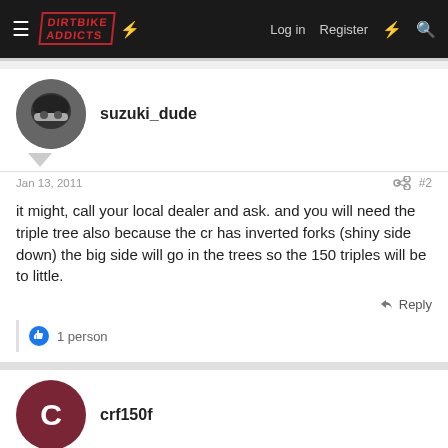DIRTBIKE ADDICTS — Log in | Register
suzuki_dude
Jan 13, 2011
#2
it might, call your local dealer and ask. and you will need the triple tree also because the cr has inverted forks (shiny side down) the big side will go in the trees so the 150 triples will be to little.
1 person
crf150f